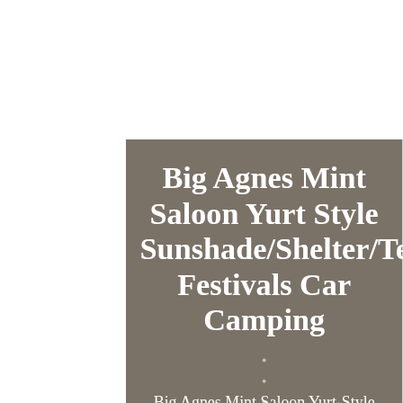Big Agnes Mint Saloon Yurt Style Sunshade/Shelter/Tent Festivals Car Camping
Big Agnes Mint Saloon Yurt-Style Sunshade/Shelter. This unique yurt-style